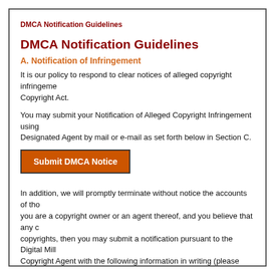DMCA Notification Guidelines
DMCA Notification Guidelines
A. Notification of Infringement
It is our policy to respond to clear notices of alleged copyright infringement. Copyright Act.
You may submit your Notification of Alleged Copyright Infringement using Designated Agent by mail or e-mail as set forth below in Section C.
[Figure (other): Orange button labeled 'Submit DMCA Notice']
In addition, we will promptly terminate without notice the accounts of those you are a copyright owner or an agent thereof, and you believe that any copyrights, then you may submit a notification pursuant to the Digital Mill Copyright Agent with the following information in writing (please consult y (3) to confirm these requirements):
1. A physical or electronic signature of a person authorized to act on behalf allegedly infringed.
2. Identification of the copyrighted work claimed to have been infringed, or are covered by a single notification, a representative list of such works at
3. Identification of the material that is claimed to be infringing or to be the